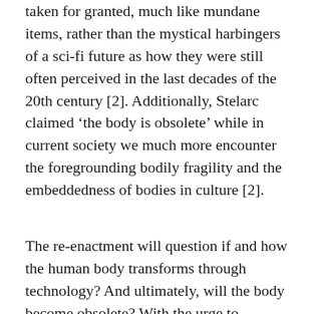taken for granted, much like mundane items, rather than the mystical harbingers of a sci-fi future as how they were still often perceived in the last decades of the 20th century [2]. Additionally, Stelarc claimed ‘the body is obsolete’ while in current society we much more encounter the foregrounding bodily fragility and the embeddedness of bodies in culture [2].
The re-enactment will question if and how the human body transforms through technology? And ultimately, will the body become obsolete? With the urge to monitor, quantify and predict, (bio)technology is enhancing our life (time). Transhumanists think that eventually eternal life, the singularity, can be reached. Others talk